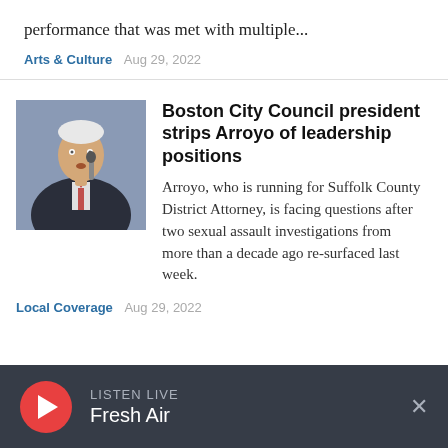performance that was met with multiple...
Arts & Culture  Aug 29, 2022
Boston City Council president strips Arroyo of leadership positions
Arroyo, who is running for Suffolk County District Attorney, is facing questions after two sexual assault investigations from more than a decade ago re-surfaced last week.
Local Coverage  Aug 29, 2022
[Figure (photo): Photo of a man in a suit speaking at a microphone]
LISTEN LIVE  Fresh Air